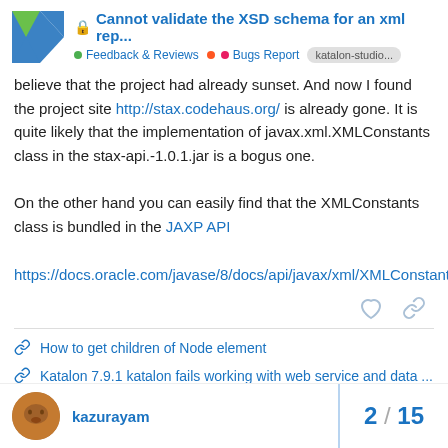Cannot validate the XSD schema for an xml rep... — Feedback & Reviews • Bugs Report • katalon-studio...
believe that the project had already sunset. And now I found the project site http://stax.codehaus.org/ is already gone. It is quite likely that the implementation of javax.xml.XMLConstants class in the stax-api.-1.0.1.jar is a bogus one.

On the other hand you can easily find that the XMLConstants class is bundled in the JAXP API

https://docs.oracle.com/javase/8/docs/api/javax/xml/XMLConstants.html
How to get children of Node element
Katalon 7.9.1 katalon fails working with web service and data ...
kazurayam  2 / 15